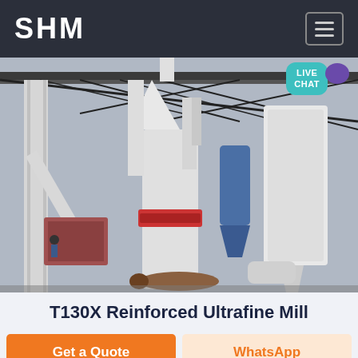SHM
[Figure (photo): T130X Reinforced Ultrafine Mill industrial milling machine installation outdoors under a steel canopy structure, showing white cylindrical mills, cyclone separators, conveyors, and dust collection equipment.]
T130X Reinforced Ultrafine Mill
Get a Quote
WhatsApp